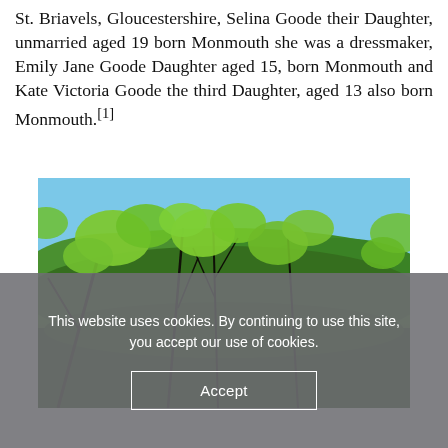St. Briavels, Gloucestershire, Selina Goode their Daughter, unmarried aged 19 born Monmouth she was a dressmaker, Emily Jane Goode Daughter aged 15, born Monmouth and Kate Victoria Goode the third Daughter, aged 13 also born Monmouth.[1]
[Figure (photo): Photograph taken looking upward through tree branches with bright green leaves in the foreground, with a dense forest of green trees in the middle ground and a blue sky in the background.]
This website uses cookies. By continuing to use this site, you accept our use of cookies.
Accept